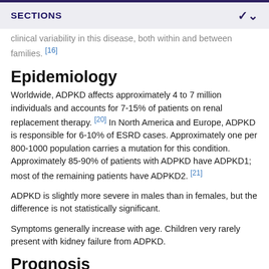SECTIONS
clinical variability in this disease, both within and between families. [16]
Epidemiology
Worldwide, ADPKD affects approximately 4 to 7 million individuals and accounts for 7-15% of patients on renal replacement therapy. [20] In North America and Europe, ADPKD is responsible for 6-10% of ESRD cases. Approximately one per 800-1000 population carries a mutation for this condition. Approximately 85-90% of patients with ADPKD have ADPKD1; most of the remaining patients have ADPKD2. [21]
ADPKD is slightly more severe in males than in females, but the difference is not statistically significant.
Symptoms generally increase with age. Children very rarely present with kidney failure from ADPKD.
Prognosis